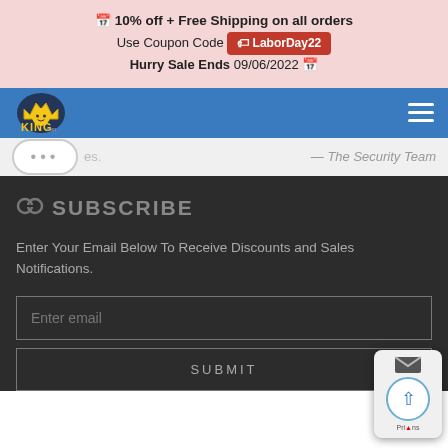📅 10% off + Free Shipping on all orders
Use Coupon Code LaborDay22
Hurry Sale Ends 09/06/2022 📅
[Figure (logo): Security Camera King logo with crown and knight character on blue navbar]
es. — The Security Team
SUBSCRIBE
Enter Your Email Below To Receive Discounts and Sales Notifications.
Enter email
SUBMIT